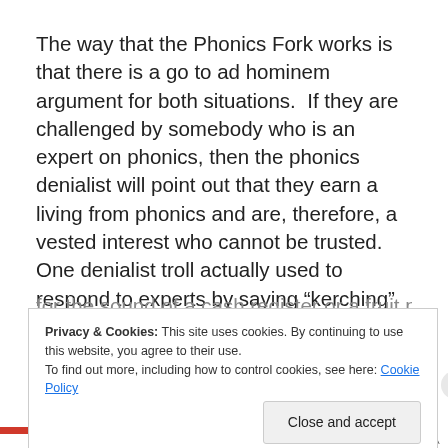The way that the Phonics Fork works is that there is a go to ad hominem argument for both situations.  If they are challenged by somebody who is an expert on phonics, then the phonics denialist will point out that they earn a living from phonics and are, therefore, a vested interest who cannot be trusted. One denialist troll actually used to respond to experts by saying “kerching” – onomatopoeia for the sound of a cash register or a fruit machine paying
Privacy & Cookies: This site uses cookies. By continuing to use this website, you agree to their use.
To find out more, including how to control cookies, see here: Cookie Policy
Close and accept